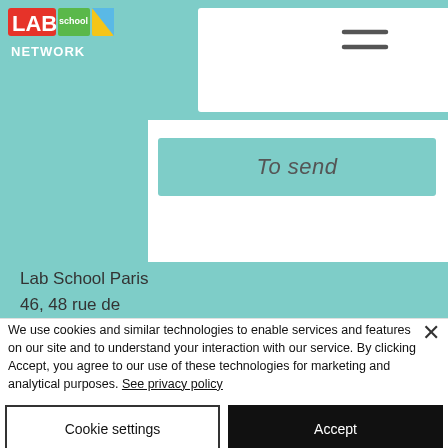[Figure (logo): LABschool NETWORK logo with colored blocks (red, yellow, green, blue) and text]
[Figure (screenshot): Navigation hamburger menu icon (three horizontal lines) on white background]
[Figure (screenshot): Teal 'To send' button in a white content panel area]
Lab School Paris
46, 48 rue de
Montreuil, 75011
PARIS
info@labschool.fr
We use cookies and similar technologies to enable services and features on our site and to understand your interaction with our service. By clicking Accept, you agree to our use of these technologies for marketing and analytical purposes. See privacy policy